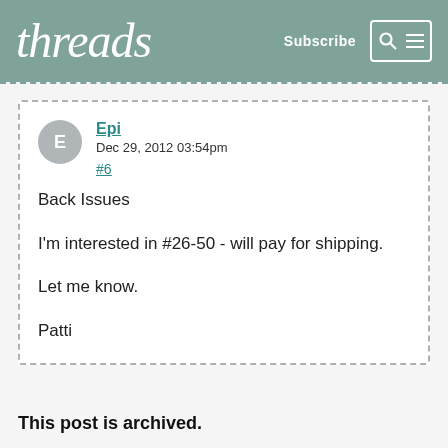threads | Subscribe
Epi
Dec 29, 2012 03:54pm
#6

Back Issues

I'm interested in #26-50 - will pay for shipping.

Let me know.

Patti
This post is archived.